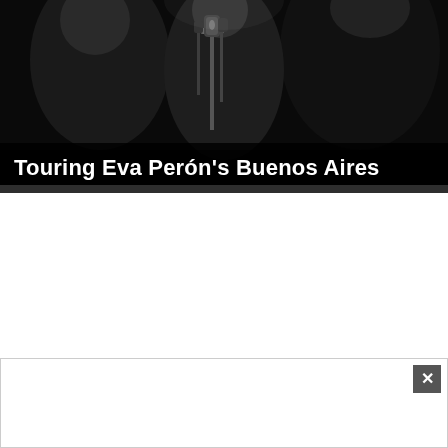[Figure (photo): Black and white photograph of people in suits near a microphone stand, style consistent with mid-20th century political gathering]
Touring Eva Perón's Buenos Aires